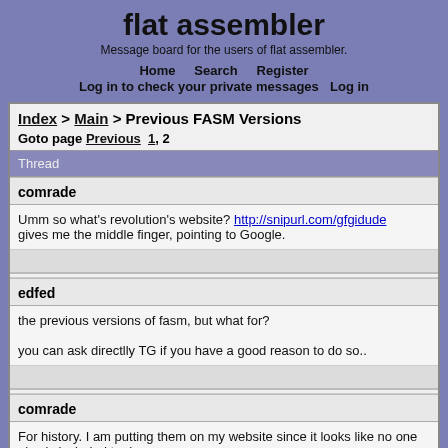flat assembler
Message board for the users of flat assembler.
Home   Search   Register
Log in to check your private messages   Log in
Index > Main > Previous FASM Versions
Goto page Previous  1, 2
Thread
comrade
Umm so what's revolution's website? http://snipurl.com/gfgidude gives me the middle finger, pointing to Google.
edfed
the previous versions of fasm, but what for?

you can ask directlly TG if you have a good reason to do so..
comrade
For history. I am putting them on my website since it looks like no one else is included to do so.